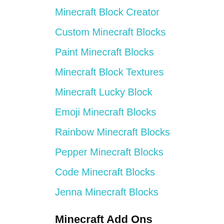Minecraft Block Creator
Custom Minecraft Blocks
Paint Minecraft Blocks
Minecraft Block Textures
Minecraft Lucky Block
Emoji Minecraft Blocks
Rainbow Minecraft Blocks
Pepper Minecraft Blocks
Code Minecraft Blocks
Jenna Minecraft Blocks
Minecraft Add Ons
Addons Creator Minecraft
Lucky Block Minecraft Addon
Weapons Minecraft Addon